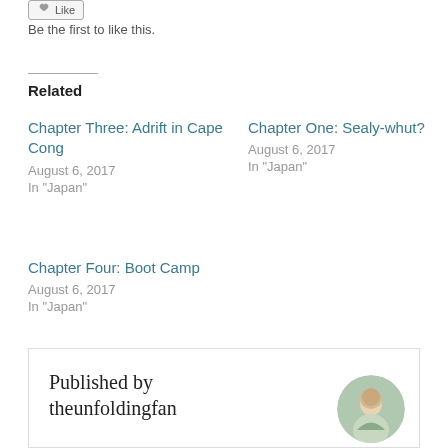[Figure (other): Like button UI widget]
Be the first to like this.
Related
Chapter Three: Adrift in Cape Cong
August 6, 2017
In "Japan"
Chapter One: Sealy-whut?
August 6, 2017
In "Japan"
Chapter Four: Boot Camp
August 6, 2017
In "Japan"
Published by theunfoldingfan